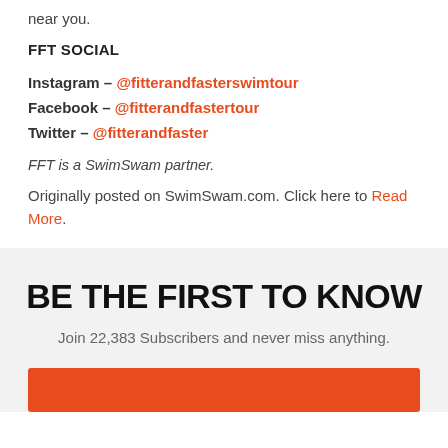near you.
FFT SOCIAL
Instagram – @fitterandfasterswimtour
Facebook – @fitterandfastertour
Twitter – @fitterandfaster
FFT is a SwimSwam partner.
Originally posted on SwimSwam.com. Click here to Read More.
BE THE FIRST TO KNOW
Join 22,383 Subscribers and never miss anything.